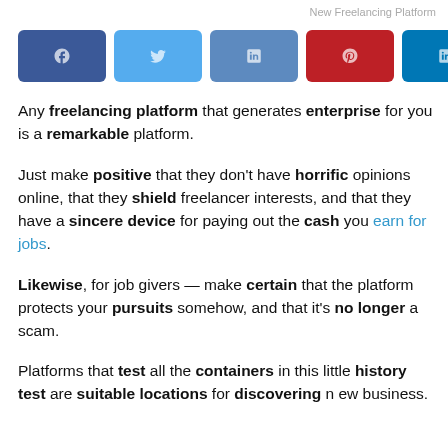New Freelancing Platform
[Figure (other): Row of six social share buttons: Facebook (dark blue), Twitter (light blue), LinkedIn (medium blue), Pinterest (red), LinkedIn/other (teal blue), and a grey button, each with a small icon.]
Any freelancing platform that generates enterprise for you is a remarkable platform.
Just make positive that they don't have horrific opinions online, that they shield freelancer interests, and that they have a sincere device for paying out the cash you earn for jobs.
Likewise, for job givers — make certain that the platform protects your pursuits somehow, and that it's no longer a scam.
Platforms that test all the containers in this little history test are suitable locations for discovering new business.